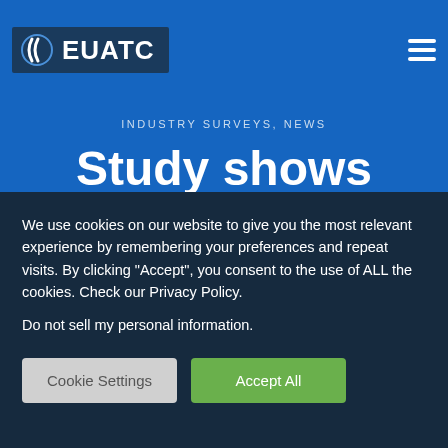EUATC
INDUSTRY SURVEYS, NEWS
Study shows what makes freelance
We use cookies on our website to give you the most relevant experience by remembering your preferences and repeat visits. By clicking “Accept”, you consent to the use of ALL the cookies. Check our Privacy Policy.
Do not sell my personal information.
Cookie Settings | Accept All